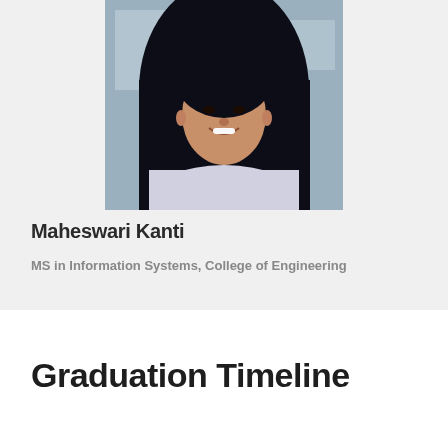[Figure (photo): Headshot photo of Maheswari Kanti, a young woman with long dark hair, smiling, wearing a light-colored top, photographed in front of a building.]
Maheswari Kanti
MS in Information Systems, College of Engineering
Graduation Timeline